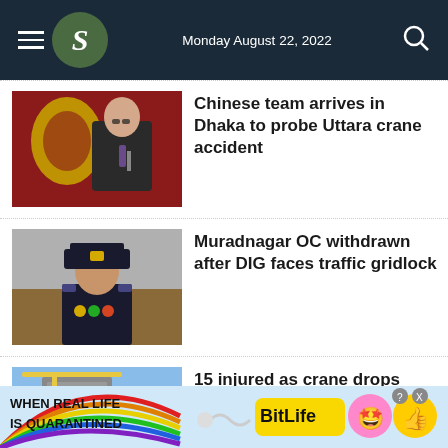Monday August 22, 2022
[Figure (photo): A man in a suit speaking at a podium with a red and gold emblem in the background]
Chinese team arrives in Dhaka to probe Uttara crane accident
[Figure (photo): A police officer in uniform with medals, seated in front of a wooden background]
Muradnagar OC withdrawn after DIG faces traffic gridlock
[Figure (photo): A building with construction cranes, partially obscured]
15 injured as crane drops rods over pedestrians inistan
[Figure (illustration): BitLife advertisement banner: When real life is quarantined - BitLife game ad with colorful rainbow and emoji characters]